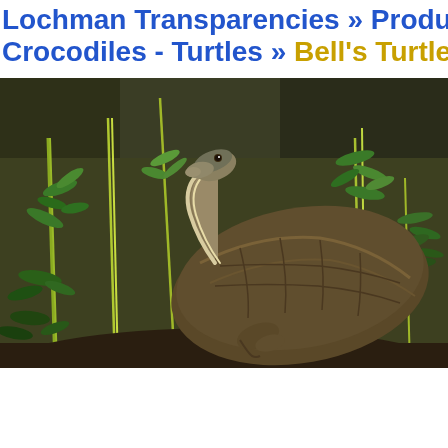Lochman Transparencies » Products » Reptiles & Amphibians » Crocodiles - Turtles » Bell's Turtle
[Figure (photo): Photograph of a Bell's Turtle (a freshwater turtle) viewed from the side in an aquatic environment. The turtle is positioned on a substrate with its neck extended upward and head raised. The shell is large, brown, and textured. Surrounding the turtle are green aquatic plants with thin stems and feathery leaves against a dark brownish-green background.]